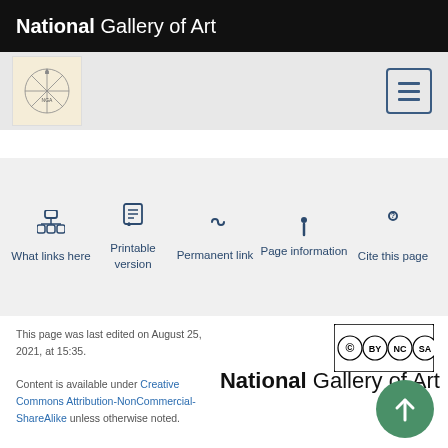National Gallery of Art
[Figure (logo): NGA compass-style logo in sub-header bar]
[Figure (screenshot): Toolbar with tool icons: What links here, Printable version, Permanent link, Page information, Cite this page]
This page was last edited on August 25, 2021, at 15:35.
Content is available under Creative Commons Attribution-NonCommercial-ShareAlike unless otherwise noted.
[Figure (logo): Creative Commons BY NC SA license badge]
[Figure (logo): National Gallery of Art large footer logo]
[Figure (other): Green circle scroll-to-top button with upward arrow]